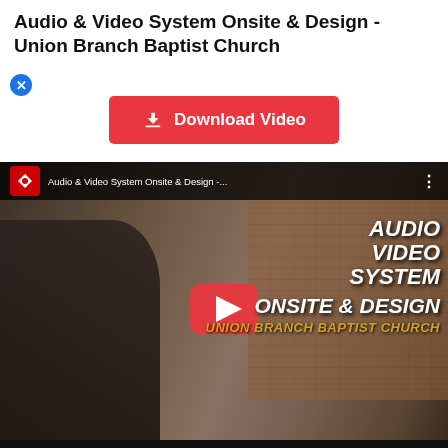Audio & Video System Onsite & Design - Union Branch Baptist Church
[Figure (screenshot): Red Download Video button with download icon]
[Figure (screenshot): YouTube video thumbnail showing a man in front of a brick church building with text overlay: AUDIO VIDEO SYSTEM ONSITE & DESIGN, UNION BRANCH BAPTIST CHURCH, and a YouTube play button. Top bar shows channel logo and video title: Audio & Video System Onsite & Design -...]